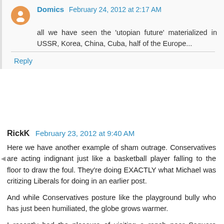Domics  February 24, 2012 at 2:17 AM
all we have seen the 'utopian future' materialized in USSR, Korea, China, Cuba, half of the Europe...
Reply
RickK  February 23, 2012 at 9:40 AM
Here we have another example of sham outrage. Conservatives are acting indignant just like a basketball player falling to the floor to draw the foul. They're doing EXACTLY what Michael was critizing Liberals for doing in an earlier post.
And while Conservatives posture like the playground bully who has just been humiliated, the globe grows warmer.
I recently had the pleasure of visiting a ranch near Saguaro National Park. For those who don't know it, this is a unique, beautiful, alien landscape of strange green cactus, blue